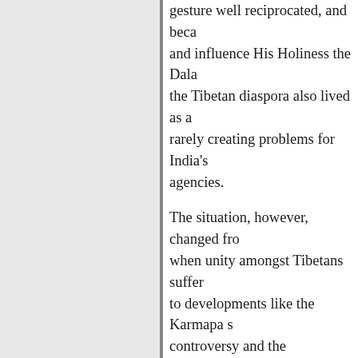gesture well reciprocated, and beca and influence His Holiness the Dala the Tibetan diaspora also lived as a rarely creating problems for India's agencies.
The situation, however, changed fro when unity amongst Tibetans suffer to developments like the Karmapa s controversy and the controversy ove Dorje Shugden. In a unique case of better of religion, two senior monks kargyue sect of Tibetan Buddhism, and late Shamar Rinpoche, develope differences after the demise of Rang the 16th Karmapa, in 1981. This ani led to emergence of two 17th Karma early nineties. While Tai Situ Rinpo recognised UghyanThinley Dorje, la Rinpoche anointed Thinley Thaye D candidate. Enthronement of their res the Rumtek Monastery in Sikkim, th